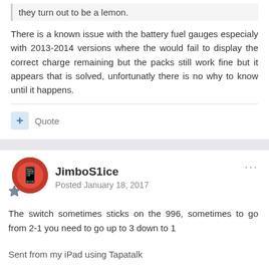they turn out to be a lemon.
There is a known issue with the battery fuel gauges especialy with 2013-2014 versions where the would fail to display the correct charge remaining but the packs still work fine but it appears that is solved, unfortunatly there is no why to know until it happens.
Quote
JimboS1ice
Posted January 18, 2017
The switch sometimes sticks on the 996, sometimes to go from 2-1 you need to go up to 3 down to 1
Sent from my iPad using Tapatalk